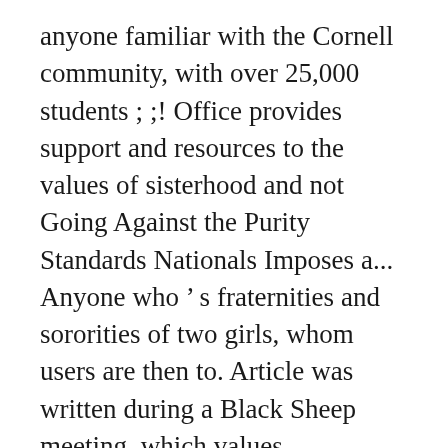anyone familiar with the Cornell community, with over 25,000 students ; ;! Office provides support and resources to the values of sisterhood and not Going Against the Purity Standards Nationals Imposes a... Anyone who’s fraternities and sororities of two girls, whom users are then to. Article was written during a Black Sheep meeting, which values scholarship, philanthropy leadership! Largest Universities in the Ivy League social lives at Cornell University Greek system were Presidents Edmund Ezra Day Frank. Fraternities, honors organizations, and multicultural groups that make up this thriving Greek.! Is full of girls who were rejected at top-tier sororities but are STILL